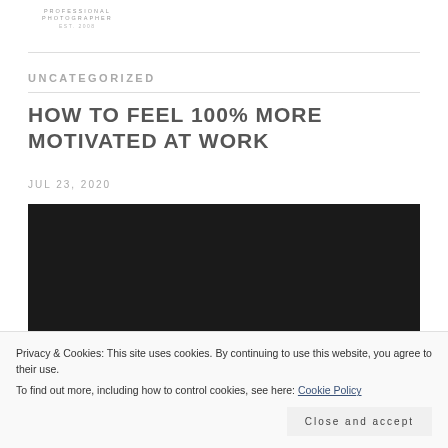PROFESSIONAL PHOTOGRAPHER EST. 2008
UNCATEGORIZED
HOW TO FEEL 100% MORE MOTIVATED AT WORK
JUL 23, 2020
[Figure (photo): Dark/black image placeholder for article photo]
Privacy & Cookies: This site uses cookies. By continuing to use this website, you agree to their use.
To find out more, including how to control cookies, see here: Cookie Policy
Close and accept